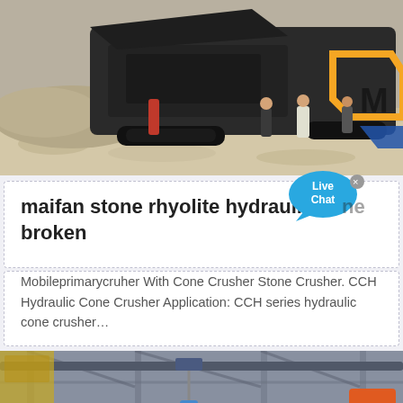[Figure (photo): Outdoor scene showing a large mobile jaw/cone crusher machine on tracks in a gravel quarry, with workers standing nearby and orange/blue branded signage in the background.]
maifan stone rhyolite hydraulic cone broken
Mobileprimarycruher With Cone Crusher Stone Crusher. CCH Hydraulic Cone Crusher Application: CCH series hydraulic cone crusher...
[Figure (photo): Interior of an industrial factory or workshop with overhead cranes, steel beams, and a suspended hook/chain visible.]